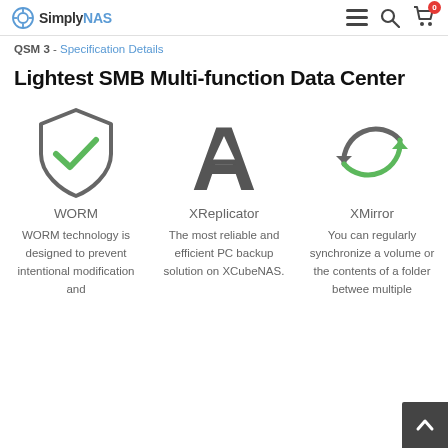SimplyNAS — navigation bar with hamburger menu, search icon, and cart icon
QSM 3 - Specification Details
Lightest SMB Multi-function Data Center
[Figure (infographic): Three feature icons in a row: WORM (shield with green checkmark), XReplicator (letter A), XMirror (circular sync arrows in green and gray)]
WORM
XReplicator
XMirror
WORM technology is designed to prevent intentional modification and
The most reliable and efficient PC backup solution on XCubeNAS.
You can regularly synchronize a volume or the contents of a folder betwee multiple